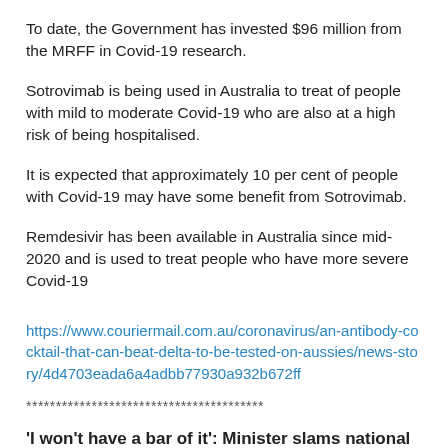To date, the Government has invested $96 million from the MRFF in Covid-19 research.
Sotrovimab is being used in Australia to treat of people with mild to moderate Covid-19 who are also at a high risk of being hospitalised.
It is expected that approximately 10 per cent of people with Covid-19 may have some benefit from Sotrovimab.
Remdesivir has been available in Australia since mid-2020 and is used to treat people who have more severe Covid-19
https://www.couriermail.com.au/coronavirus/an-antibody-cocktail-that-can-beat-delta-to-be-tested-on-aussies/news-story/4d4703eada6a4adbb77930a932b672ff
****************************************
‘I won’t have a bar of it’: Minister slams national curriculum draft over ANZAC Day stance